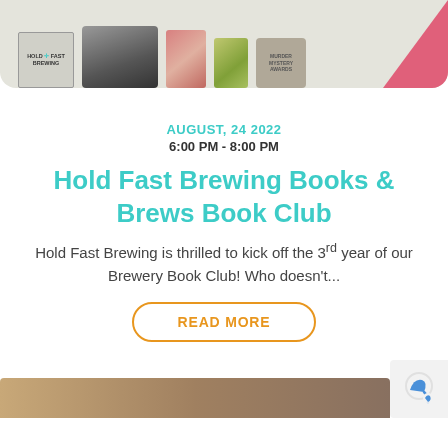[Figure (photo): Top banner image showing Hold Fast Brewing logo, group photo of people, book covers, and awards against a light beige background with pink corner accent]
AUGUST, 24 2022
6:00 PM - 8:00 PM
Hold Fast Brewing Books & Brews Book Club
Hold Fast Brewing is thrilled to kick off the 3rd year of our Brewery Book Club! Who doesn't...
READ MORE
[Figure (photo): Bottom partial image showing stacked books or macarons in warm brown tones]